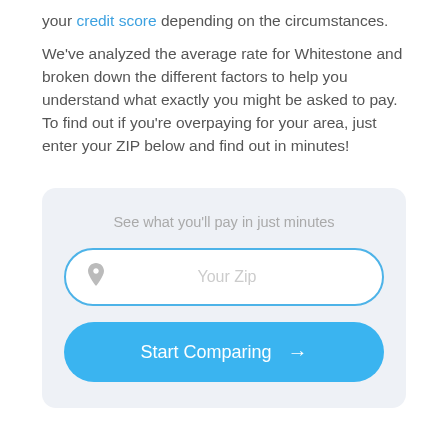your credit score depending on the circumstances.

We've analyzed the average rate for Whitestone and broken down the different factors to help you understand what exactly you might be asked to pay. To find out if you're overpaying for your area, just enter your ZIP below and find out in minutes!
[Figure (other): Interactive widget with ZIP code input field showing placeholder text 'Your Zip' with a pin icon, a label 'See what you'll pay in just minutes', and a blue 'Start Comparing →' button.]